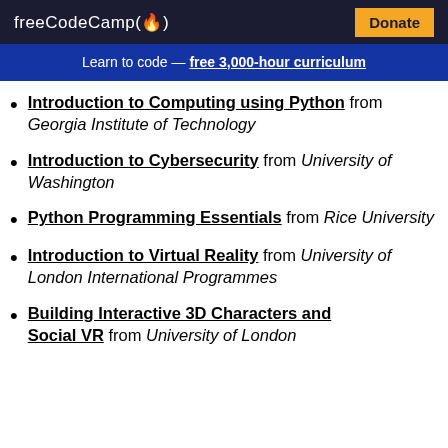freeCodeCamp(🔥)  Donate
Learn to code — free 3,000-hour curriculum
Introduction to Computing using Python from Georgia Institute of Technology
Introduction to Cybersecurity from University of Washington
Python Programming Essentials from Rice University
Introduction to Virtual Reality from University of London International Programmes
Building Interactive 3D Characters and Social VR from University of London